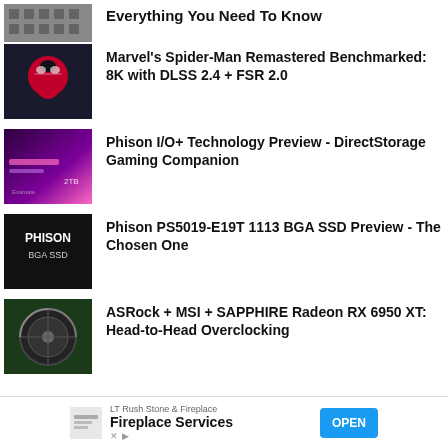Everything You Need To Know
[Figure (photo): Thumbnail image, dark grid/circuit pattern]
Marvel's Spider-Man Remastered Benchmarked: 8K with DLSS 2.4 + FSR 2.0
[Figure (photo): Spider-Man character on dark background]
Phison I/O+ Technology Preview - DirectStorage Gaming Companion
[Figure (photo): Purple/pink SSD technology preview image]
Phison PS5019-E19T 1113 BGA SSD Preview - The Chosen One
[Figure (photo): Black square with PHISON BGA SSD text]
ASRock + MSI + SAPPHIRE Radeon RX 6950 XT: Head-to-Head Overclocking
[Figure (photo): GPU fan/cooler on teal/green background]
LT Rush Stone & Fireplace  Fireplace Services  OPEN